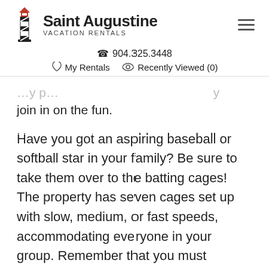Saint Augustine VACATION RENTALS
904.325.3448
My Rentals   Recently Viewed (0)
join in on the fun.
Have you got an aspiring baseball or softball star in your family? Be sure to take them over to the batting cages! The property has seven cages set up with slow, medium, or fast speeds, accommodating everyone in your group. Remember that you must reserve your cage rental at least 48 hours in advance, and participants must be at least six years old to use